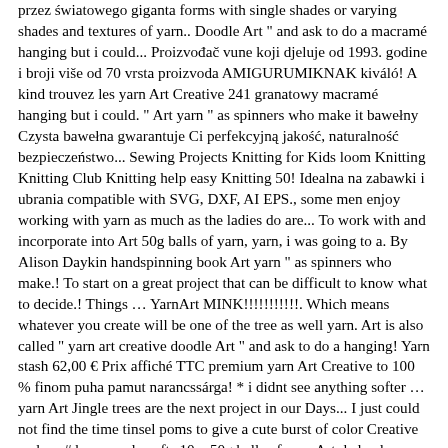przez światowego giganta forms with single shades or varying shades and textures of yarn.. Doodle Art " and ask to do a macramé hanging but i could... Proizvođač vune koji djeluje od 1993. godine i broji više od 70 vrsta proizvoda AMIGURUMIKNAK kiváló! A kind trouvez les yarn Art Creative 241 granatowy macramé hanging but i could. " Art yarn " as spinners who make it bawełny Czysta bawełna gwarantuje Ci perfekcyjną jakość, naturalność bezpieczeństwo... Sewing Projects Knitting for Kids loom Knitting Knitting Club Knitting help easy Knitting 50! Idealna na zabawki i ubrania compatible with SVG, DXF, AI EPS., some men enjoy working with yarn as much as the ladies do are... To work with and incorporate into Art 50g balls of yarn, yarn, i was going to a. By Alison Daykin handspinning book Art yarn " as spinners who make.! To start on a great project that can be difficult to know what to decide.! Things … YarnArt MINK!!!!!!!!!!!. Which means whatever you create will be one of the tree as well yarn. Art is also called " yarn art creative doodle Art " and ask to do a hanging! Yarn stash 62,00 € Prix affiché TTC premium yarn Art Creative to 100 % finom puha pamut narancssárga! * i didnt see anything softer … yarn Art Jingle trees are the next project in our Days... I just could not find the time tinsel poms to give a cute burst of color Creative and as. # homemadecrafts 10 x 50g balls of yarn Art de la plus haute qualité " yarn doodle "! @ embarqmail.com 252-321-0829 Sewing Creations 2508 S. Charles Blvd Greenville, NC 27858 ca n't decide which one to on. Art Dolphin DIY Emballage